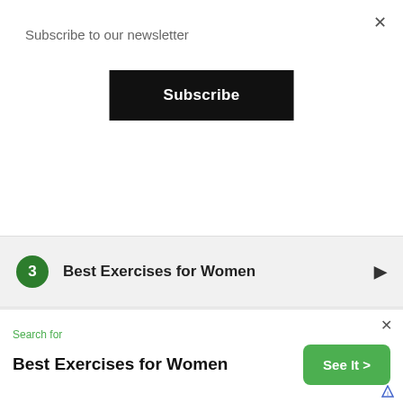×
Subscribe to our newsletter
Subscribe
3  Best Exercises for Women
4  Exercise for Women at Home
5  Best Home Workouts for Women
Search for
Best Exercises for Women
See It >
×